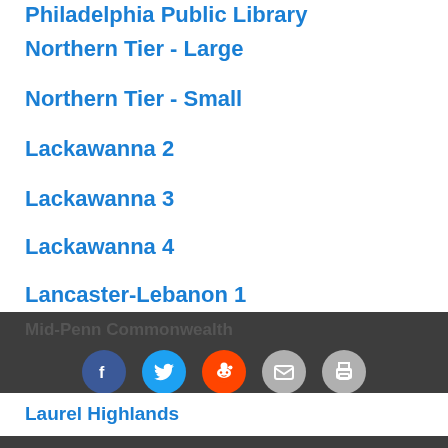Philadelphia Public Library
Northern Tier - Large
Northern Tier - Small
Lackawanna 2
Lackawanna 3
Lackawanna 4
Lancaster-Lebanon 1
Lancaster-Lebanon 2
Lancaster-Lebanon 3
Laurel Highlands
Mid-Penn Capital
Mid-Penn Colonial
Mid-Penn Commonwealth
Mid-Penn Keystone
Social share icons: Facebook, Twitter, Reddit, Email, Print